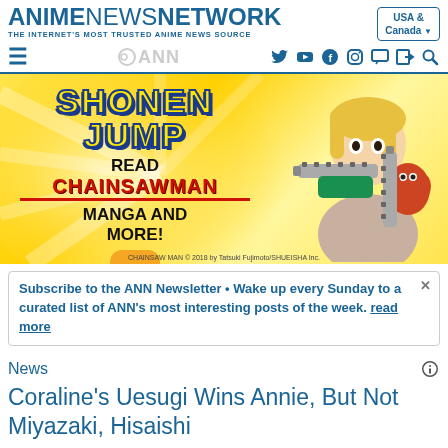ANIME NEWS NETWORK — THE INTERNET'S MOST TRUSTED ANIME NEWS SOURCE — USA & Canada
[Figure (screenshot): Shonen Jump advertisement banner for Chainsaw Man manga — yellow background with anime character holding chainsaws, small character on shoulder]
Subscribe to the ANN Newsletter • Wake up every Sunday to a curated list of ANN's most interesting posts of the week. read more
News
Coraline's Uesugi Wins Annie, But Not Miyazaki, Hisaishi